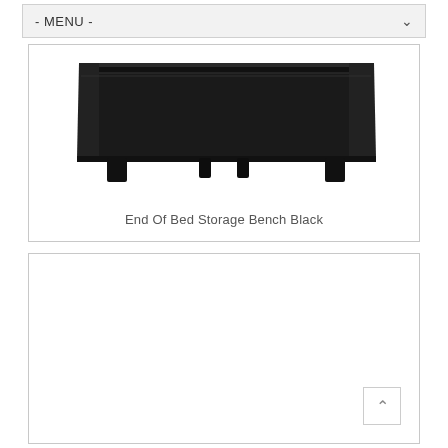- MENU -
[Figure (photo): A black upholstered end-of-bed storage bench with short dark wooden legs, viewed from the front-side angle. The bench has a flat padded top that opens for storage.]
End Of Bed Storage Bench Black
[Figure (photo): Empty white card placeholder for a second product image.]